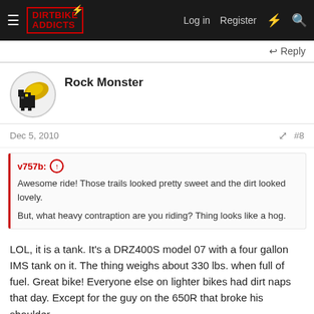DIRTBIKE ADDICTS — Log in  Register
↩ Reply
Rock Monster
Dec 5, 2010   #8
v757b: ↑
Awesome ride! Those trails looked pretty sweet and the dirt looked lovely.

But, what heavy contraption are you riding? Thing looks like a hog.
LOL, it is a tank. It's a DRZ400S model 07 with a four gallon IMS tank on it. The thing weighs about 330 lbs. when full of fuel. Great bike! Everyone else on lighter bikes had dirt naps that day. Except for the guy on the 650R that broke his shoulder.